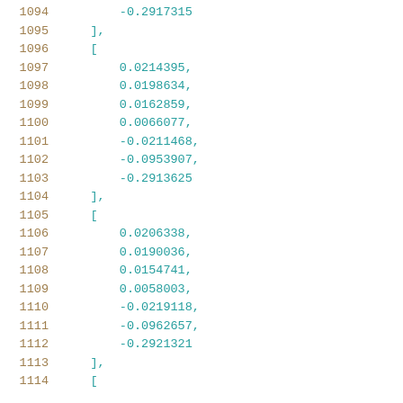1094    -0.2917315
1095    ],
1096    [
1097        0.0214395,
1098        0.0198634,
1099        0.0162859,
1100        0.0066077,
1101        -0.0211468,
1102        -0.0953907,
1103        -0.2913625
1104    ],
1105    [
1106        0.0206338,
1107        0.0190036,
1108        0.0154741,
1109        0.0058003,
1110        -0.0219118,
1111        -0.0962657,
1112        -0.2921321
1113    ],
1114    [